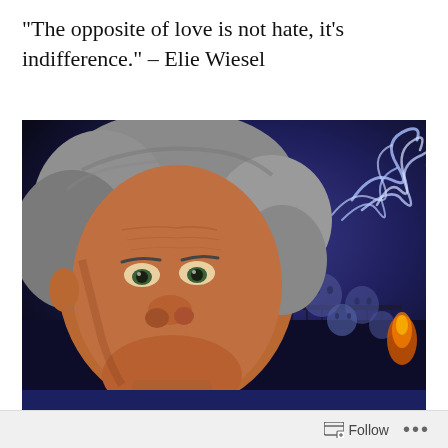“The opposite of love is not hate, it’s indifference.” – Elie Wiesel
[Figure (illustration): A painted portrait of Elie Wiesel, an elderly man with gray hair and a somber expression, wearing a dark suit. Behind him is a dark, dramatic scene with ghostly faces floating in smoke, a tower structure, and flickering flames, set against a deep blue-purple night sky with swirling white smoke trails.]
Elie Wiesel
Follow ...